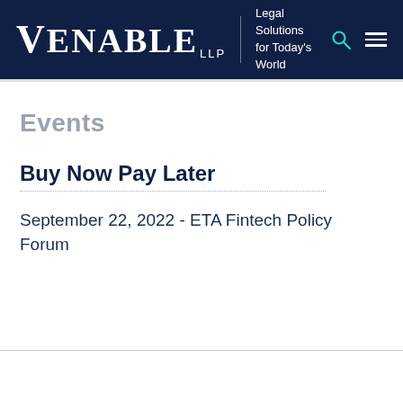VENABLE LLP | Legal Solutions for Today's World
Events
Buy Now Pay Later
September 22, 2022 - ETA Fintech Policy Forum